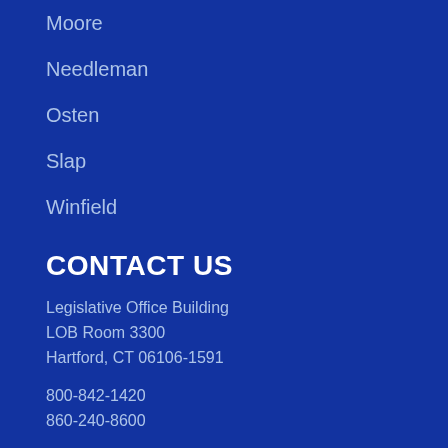Moore
Needleman
Osten
Slap
Winfield
CONTACT US
Legislative Office Building
LOB Room 3300
Hartford, CT 06106-1591
800-842-1420
860-240-8600
For general inquiries:
info@senatedems.ct.gov
e-NEWS SIGNUP